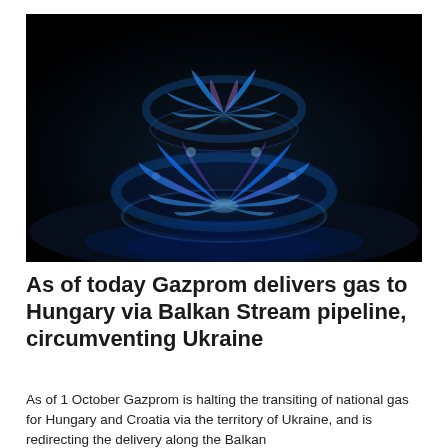[Figure (photo): Close-up photograph of blue gas flames burning on a gas stove burner, dark background]
As of today Gazprom delivers gas to Hungary via Balkan Stream pipeline, circumventing Ukraine
As of 1 October Gazprom is halting the transiting of national gas for Hungary and Croatia via the territory of Ukraine, and is redirecting the delivery along the Balkan